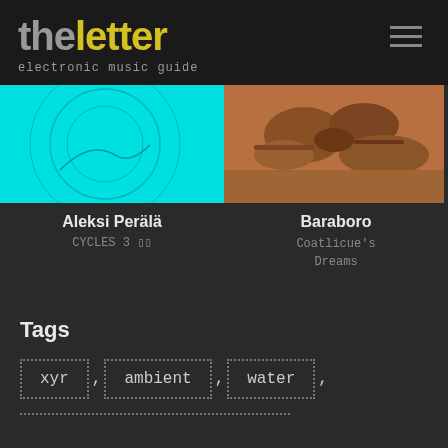theletter
electronic music guide
[Figure (illustration): Cyan/turquoise album artwork with circular line design]
[Figure (photo): Desert/rocky terrain landscape photo for Baraboro album]
Aleksi Perälä
CYCLES 3
Baraboro
Coatlicue's Dreams
Tags
xyr
ambient
water